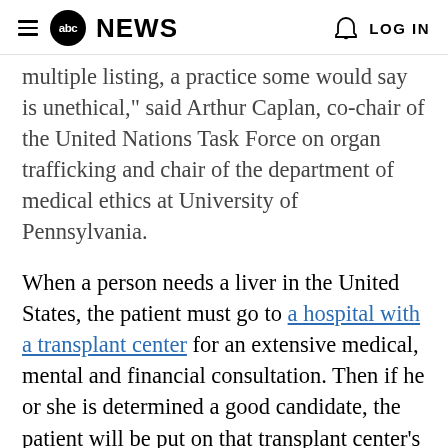abc NEWS   LOG IN
multiple listing, a practice some would say is unethical," said Arthur Caplan, co-chair of the United Nations Task Force on organ trafficking and chair of the department of medical ethics at University of Pennsylvania.
When a person needs a liver in the United States, the patient must go to a hospital with a transplant center for an extensive medical, mental and financial consultation. Then if he or she is determined a good candidate, the patient will be put on that transplant center's waiting list.